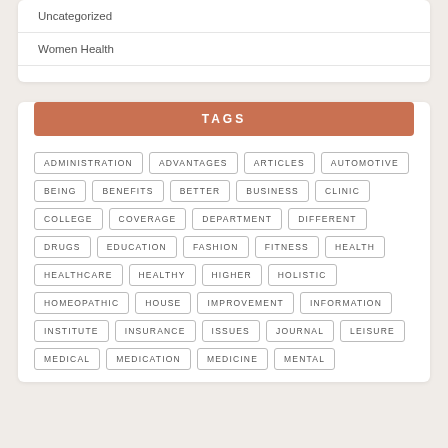Uncategorized
Women Health
TAGS
ADMINISTRATION
ADVANTAGES
ARTICLES
AUTOMOTIVE
BEING
BENEFITS
BETTER
BUSINESS
CLINIC
COLLEGE
COVERAGE
DEPARTMENT
DIFFERENT
DRUGS
EDUCATION
FASHION
FITNESS
HEALTH
HEALTHCARE
HEALTHY
HIGHER
HOLISTIC
HOMEOPATHIC
HOUSE
IMPROVEMENT
INFORMATION
INSTITUTE
INSURANCE
ISSUES
JOURNAL
LEISURE
MEDICAL
MEDICATION
MEDICINE
MENTAL